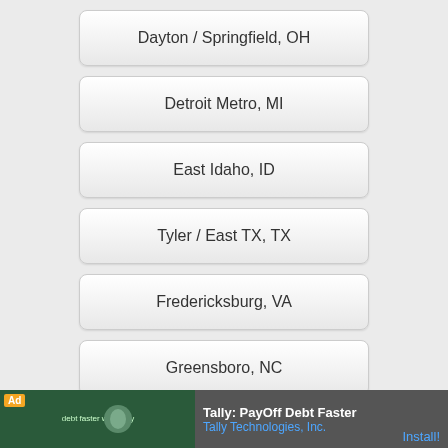Dayton / Springfield, OH
Detroit Metro, MI
East Idaho, ID
Tyler / East TX, TX
Fredericksburg, VA
Greensboro, NC
Harrisburg, PA
Inland Empire, CA
Ad Tally: PayOff Debt Faster Tally Technologies, Inc. Install!